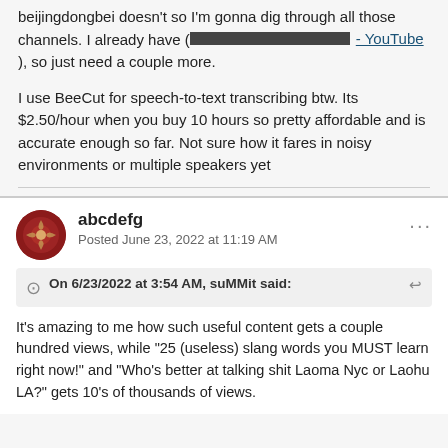beijingdongbei doesn't so I'm gonna dig through all those channels. I already have ([redacted] - YouTube), so just need a couple more.
I use BeeCut for speech-to-text transcribing btw. Its $2.50/hour when you buy 10 hours so pretty affordable and is accurate enough so far. Not sure how it fares in noisy environments or multiple speakers yet
abcdefg
Posted June 23, 2022 at 11:19 AM
On 6/23/2022 at 3:54 AM, suMMit said:
It's amazing to me how such useful content gets a couple hundred views, while "25 (useless) slang words you MUST learn right now!" and "Who's better at talking shit Laoma Nyc or Laohu LA?" gets 10's of thousands of views.